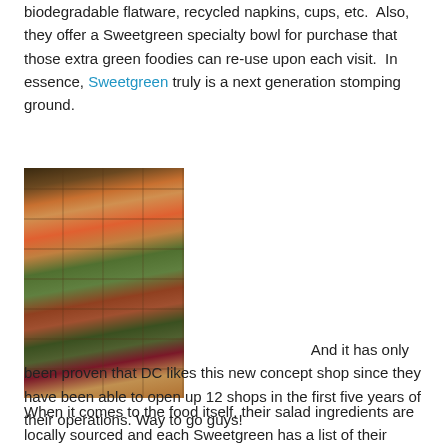biodegradable flatware, recycled napkins, cups, etc. Also, they offer a Sweetgreen specialty bowl for purchase that those extra green foodies can re-use upon each visit. In essence, Sweetgreen truly is a next generation stomping ground.
[Figure (photo): Photo of a salad bar with multiple metal trays filled with various colorful vegetables, grains, and toppings arranged in a grid pattern]
And it has only been proven that DC likes this new concept shop since they have been able to open up 12 shops in the first five years of their operations. Way to go guys!
When it comes to the food itself, their salad ingredients are locally sourced and each Sweetgreen has a list of their